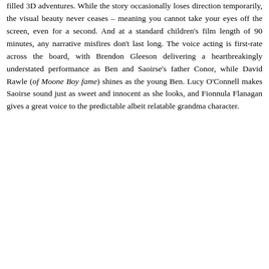filled 3D adventures. While the story occasionally loses direction temporarily, the visual beauty never ceases – meaning you cannot take your eyes off the screen, even for a second. And at a standard children's film length of 90 minutes, any narrative misfires don't last long. The voice acting is first-rate across the board, with Brendon Gleeson delivering a heartbreakingly understated performance as Ben and Saoirse's father Conor, while David Rawle (of Moone Boy fame) shines as the young Ben. Lucy O'Connell makes Saoirse sound just as sweet and innocent as she looks, and Fionnula Flanagan gives a great voice to the predictable albeit relatable grandma character.